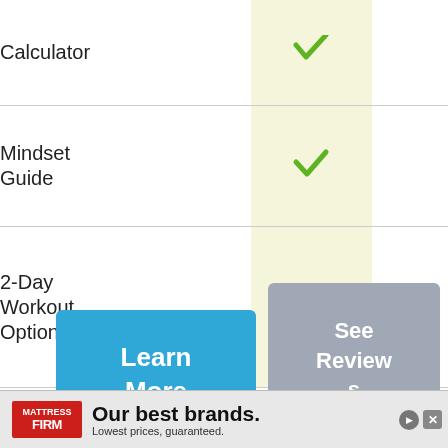| Feature | Included |  |
| --- | --- | --- |
| Calculator | ✓ |  |
| Mindset
Guide | ✓ |  |
| 2-Day
Workout
Option | ✓ |  |
Learn More
See Reviews
[Figure (infographic): Advertisement banner for Mattress Firm: 'Our best brands. Lowest prices, guaranteed.']